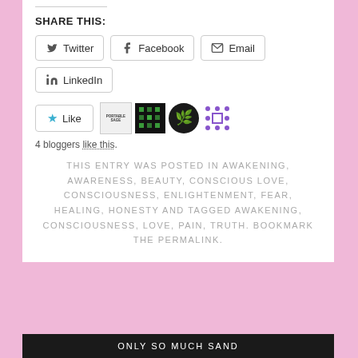SHARE THIS:
Twitter
Facebook
Email
LinkedIn
4 bloggers like this.
THIS ENTRY WAS POSTED IN AWAKENING, AWARENESS, BEAUTY, CONSCIOUS LOVE, CONSCIOUSNESS, ENLIGHTENMENT, FEAR, HEALING, HONESTY AND TAGGED AWAKENING, CONSCIOUSNESS, LOVE, PAIN, TRUTH. BOOKMARK THE PERMALINK.
ONLY SO MUCH SAND